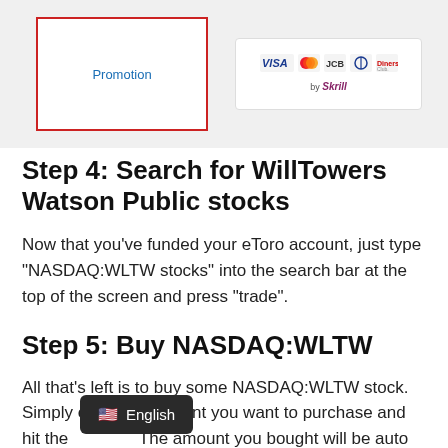[Figure (screenshot): Screenshot showing a Promotion input box with red border and a payment methods box showing VISA, Mastercard, JCB, and other card logos by Skrill]
Step 4: Search for WillTowers Watson Public stocks
Now that you’ve funded your eToro account, just type “NASDAQ:WLTW stocks” into the search bar at the top of the screen and press “trade”.
Step 5: Buy NASDAQ:WLTW
All that’s left is to buy some NASDAQ:WLTW stock. Simply enter the amount you want to purchase and hit the The amount you bought will be auto credited to your account where you can